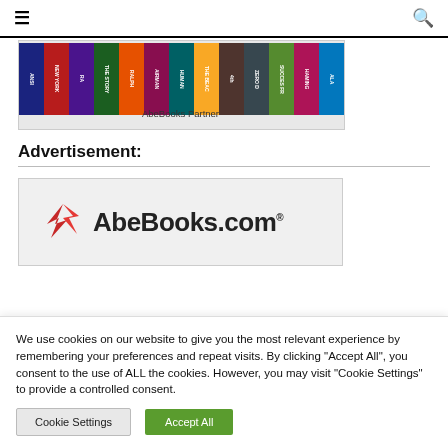☰  [navigation]  🔍
[Figure (photo): AbeBooks Partner banner showing colorful book spines on a shelf]
AbeBooks Partner
Advertisement:
[Figure (logo): AbeBooks.com logo with red bird/leaf icon and bold black text]
We use cookies on our website to give you the most relevant experience by remembering your preferences and repeat visits. By clicking "Accept All", you consent to the use of ALL the cookies. However, you may visit "Cookie Settings" to provide a controlled consent.
Cookie Settings  Accept All